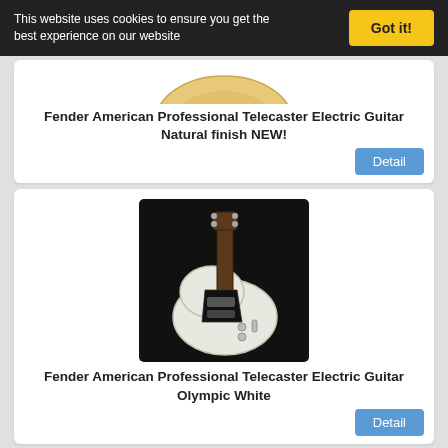This website uses cookies to ensure you get the best experience on our website
Got it!
[Figure (photo): Partial image of Fender guitar body with natural wood finish visible at top]
Fender American Professional Telecaster Electric Guitar Natural finish NEW!
Detail
[Figure (photo): Fender American Professional Telecaster Electric Guitar Olympic White on black background]
Fender American Professional Telecaster Electric Guitar Olympic White
Detail
[Figure (photo): Partial image of Fender American Professional Telecaster in Olympic White, top portion visible]